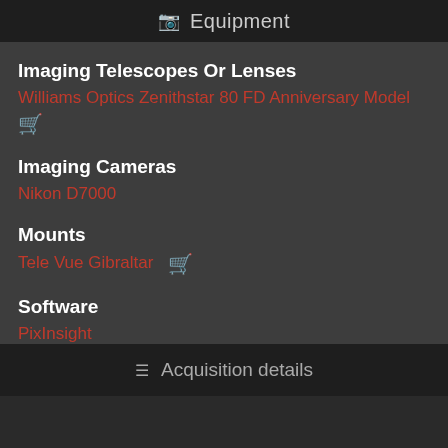Equipment
Imaging Telescopes Or Lenses
Williams Optics Zenithstar 80 FD Anniversary Model
Imaging Cameras
Nikon D7000
Mounts
Tele Vue Gibraltar
Software
PixInsight
Acquisition details